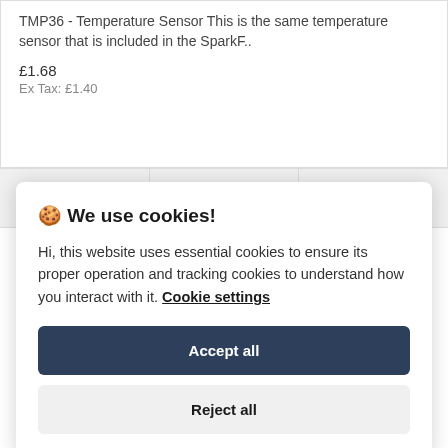TMP36 - Temperature Sensor This is the same temperature sensor that is included in the SparkF..
£1.68
Ex Tax: £1.40
[Figure (infographic): Toolbar with three icons: shopping cart, heart/wishlist, and compare sliders]
🍪 We use cookies!
Hi, this website uses essential cookies to ensure its proper operation and tracking cookies to understand how you interact with it. Cookie settings
Accept all
Reject all